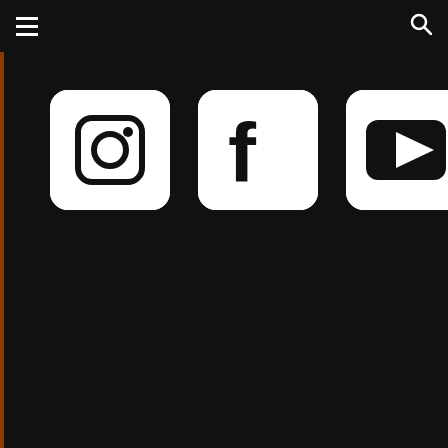[Figure (logo): Three social media icons on dark background: Instagram (camera icon), Facebook (f icon), YouTube (play button icon), all in white rounded square boxes]
Privacy and Policy
We use cookies on our website to give you the most relevant experience by remembering your preferences and repeat visits. By clicking “Accept”, you consent to the use of ALL the cookies.
Cookie settings
ACCEPT